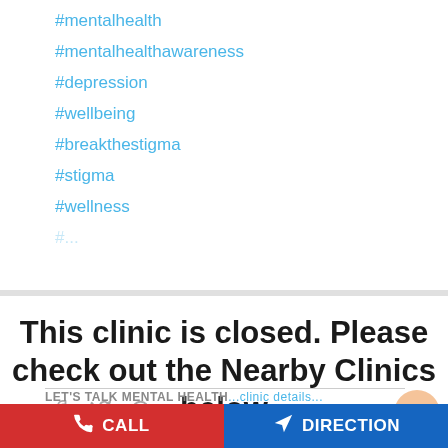#mentalhealth
#mentalhealthawareness
#depression
#wellbeing
#breakthestigma
#stigma
#wellness
This clinic is closed. Please check out the Nearby Clinics below
[Figure (infographic): Social share icons: Facebook, Twitter, WhatsApp. Scroll-to-top orange circle button with upward arrow.]
LET'S TALK MENTAL HEALTHe...
CALL | DIRECTION